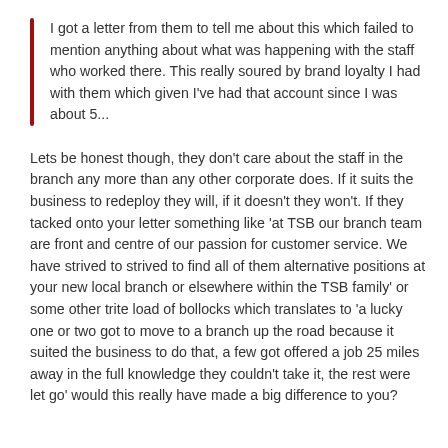I got a letter from them to tell me about this which failed to mention anything about what was happening with the staff who worked there. This really soured by brand loyalty I had with them which given I've had that account since I was about 5...
Lets be honest though, they don't care about the staff in the branch any more than any other corporate does. If it suits the business to redeploy they will, if it doesn't they won't. If they tacked onto your letter something like 'at TSB our branch team are front and centre of our passion for customer service. We have strived to strived to find all of them alternative positions at your new local branch or elsewhere within the TSB family' or some other trite load of bollocks which translates to 'a lucky one or two got to move to a branch up the road because it suited the business to do that, a few got offered a job 25 miles away in the full knowledge they couldn't take it, the rest were let go' would this really have made a big difference to you?